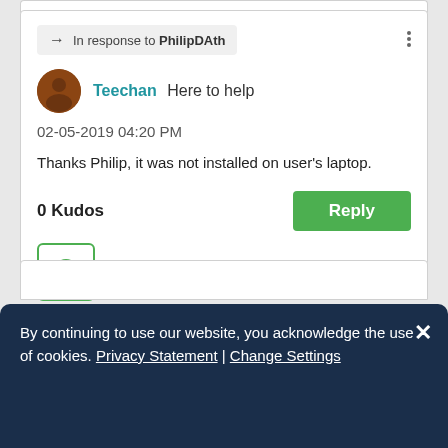In response to PhilipDAth
Teechan Here to help
02-05-2019 04:20 PM
Thanks Philip, it was not installed on user's laptop.
0 Kudos
Reply
By continuing to use our website, you acknowledge the use of cookies. Privacy Statement | Change Settings